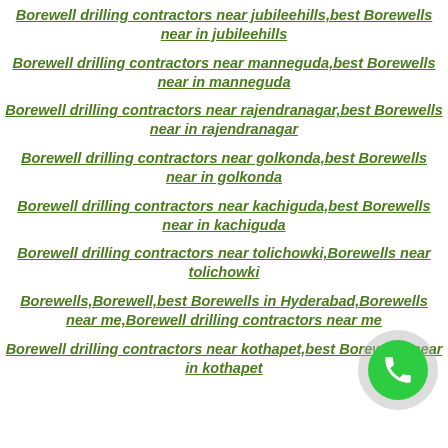Borewell drilling contractors near jubileehills,best Borewells near in jubileehills
Borewell drilling contractors near manneguda,best Borewells near in manneguda
Borewell drilling contractors near rajendranagar,best Borewells near in rajendranagar
Borewell drilling contractors near golkonda,best Borewells near in golkonda
Borewell drilling contractors near kachiguda,best Borewells near in kachiguda
Borewell drilling contractors near tolichowki,Borewells near tolichowki
Borewells,Borewell,best Borewells in Hyderabad,Borewells near me,Borewell drilling contractors near me
Borewell drilling contractors near kothapet,best Borewells near in kothapet
[Figure (other): Green phone call button floating widget with gray circular background]